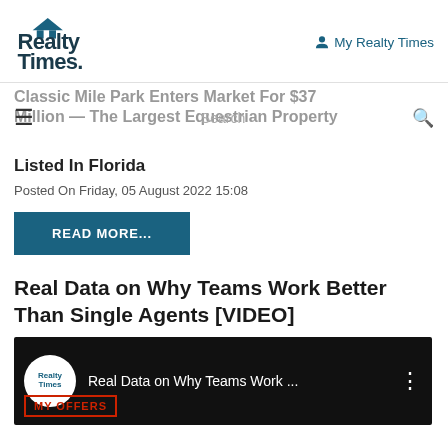Realty Times — My Realty Times
Classic Mile Park Enters Market For $37 Million — The Largest Equestrian Property Listed In Florida
Posted On Friday, 05 August 2022 15:08
READ MORE...
Real Data on Why Teams Work Better Than Single Agents [VIDEO]
[Figure (screenshot): YouTube video thumbnail showing Realty Times logo and title 'Real Data on Why Teams Work ...' with MY OFFERS badge overlay]